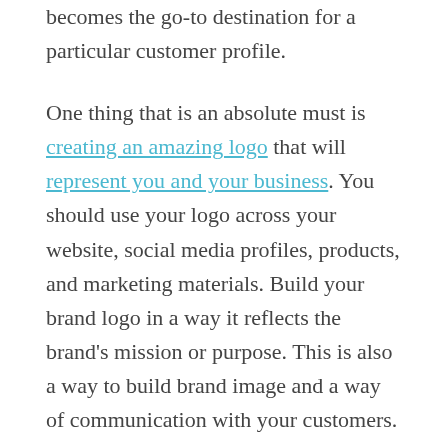becomes the go-to destination for a particular customer profile.
One thing that is an absolute must is creating an amazing logo that will represent you and your business. You should use your logo across your website, social media profiles, products, and marketing materials. Build your brand logo in a way it reflects the brand's mission or purpose. This is also a way to build brand image and a way of communication with your customers.
Let's stay in the visual aspect for a while here. Consider creating a "brand book". Such document details everything from company values and color palette to placement of text and images. It is a